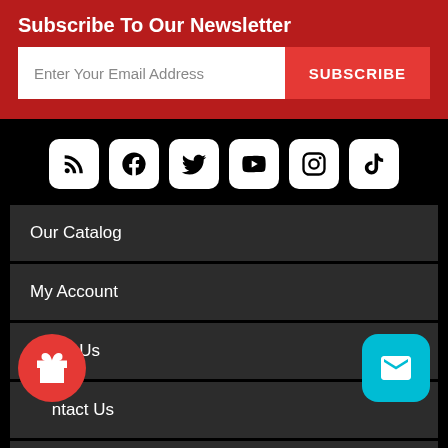Subscribe To Our Newsletter
Enter Your Email Address
SUBSCRIBE
[Figure (infographic): Row of 6 social media icon buttons (RSS, Facebook, Twitter, YouTube, Instagram, TikTok) with white rounded square backgrounds on black]
Our Catalog
My Account
About Us
Contact Us
Help Center +
[Figure (illustration): Red circular floating button with gift/present icon]
[Figure (illustration): Cyan rounded square floating button with envelope/mail icon]